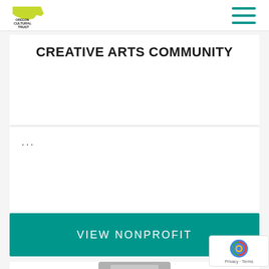Oregon Cultural Trust - Creative Arts Community
CREATIVE ARTS COMMUNITY
...
VIEW NONPROFIT
[Figure (screenshot): Partial screenshot of bottom card with gray graphic/image partially visible]